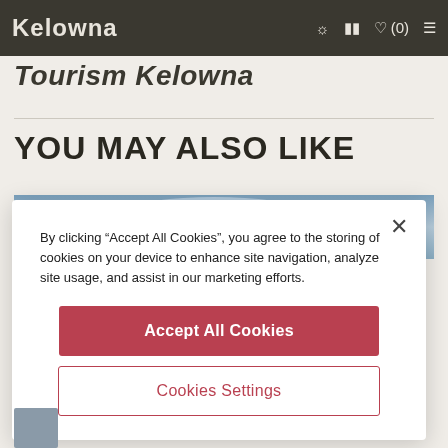Kelowna
Tourism Kelowna
YOU MAY ALSO LIKE
[Figure (screenshot): Partial sky/landscape image strip behind cookie consent modal]
By clicking “Accept All Cookies”, you agree to the storing of cookies on your device to enhance site navigation, analyze site usage, and assist in our marketing efforts.
Accept All Cookies
Cookies Settings